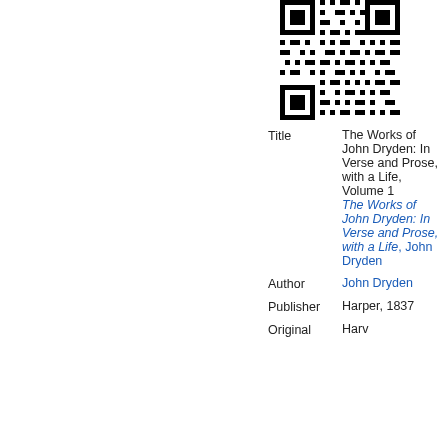[Figure (other): QR code image in upper right area of the page]
| Title | The Works of John Dryden: In Verse and Prose, with a Life, Volume 1
The Works of John Dryden: In Verse and Prose, with a Life, John Dryden |
| Author | John Dryden |
| Publisher | Harper, 1837 |
| Original | Harvard |